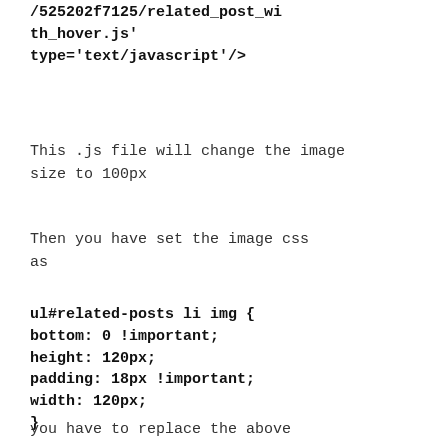/525202f7125/related_post_with_hover.js' type='text/javascript'/>
This .js file will change the image size to 100px
Then you have set the image css as
ul#related-posts li img {
bottom: 0 !important;
height: 120px;
padding: 18px !important;
width: 120px;
}
you have to replace the above